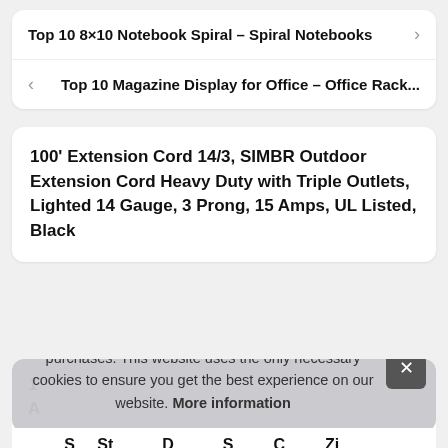Top 10 8×10 Notebook Spiral – Spiral Notebooks
Top 10 Magazine Display for Office – Office Rack...
100' Extension Cord 14/3, SIMBR Outdoor Extension Cord Heavy Duty with Triple Outlets, Lighted 14 Gauge, 3 Prong, 15 Amps, UL Listed, Black
As an Amazon Associate I earn from qualifying purchases. This website uses the only necessary cookies to ensure you get the best experience on our website. More information
S__ St_____ S_____ D_____ S____ C____ Z______